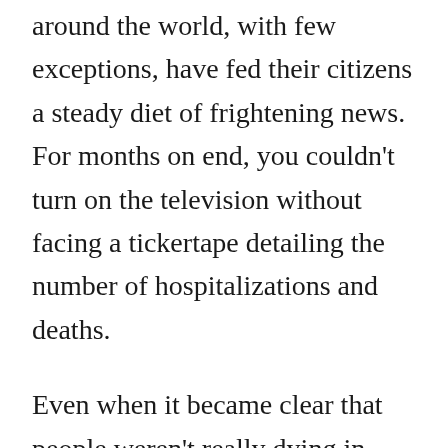around the world, with few exceptions, have fed their citizens a steady diet of frightening news. For months on end, you couldn't turn on the television without facing a tickertape detailing the number of hospitalizations and deaths.
Even when it became clear that people weren't really dying in excessive numbers, the mainstream media fed us continuous updates on the growing number of “cases,” without ever putting such figures into